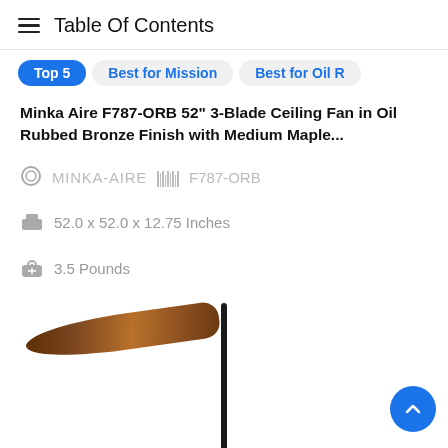Table Of Contents
Top 5 | Best for Mission | Best for Oil R
Minka Aire F787-ORB 52" 3-Blade Ceiling Fan in Oil Rubbed Bronze Finish with Medium Maple...
MINKA-AIRE  F787-ORB
52.0 x 52.0 x 12.75 Inches
3.5 Pounds
[Figure (photo): Partial view of a ceiling fan showing a dark metal pole and a wood-toned fan blade against white background]